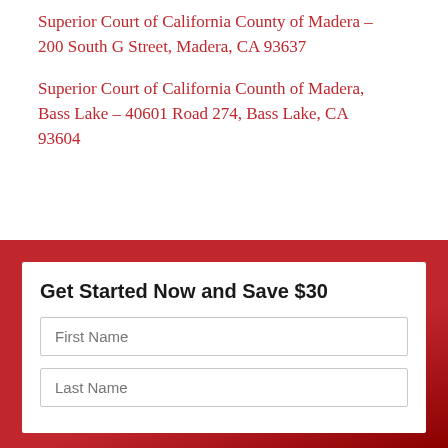Superior Court of California County of Madera – 200 South G Street, Madera, CA 93637
Superior Court of California Counth of Madera, Bass Lake – 40601 Road 274, Bass Lake, CA 93604
Get Started Now and Save $30
First Name
Last Name